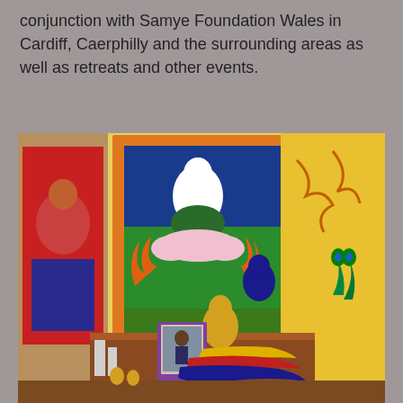conjunction with Samye Foundation Wales in Cardiff, Caerphilly and the surrounding areas as well as retreats and other events.
[Figure (photo): Interior of a Tibetan Buddhist shrine room showing colorful thangka paintings on the walls depicting Buddhist deities, a golden Buddha statue on an altar with ceremonial offerings including silk brocade fabric in yellow, red, and blue colors, a framed photograph, ritual objects, and peacock feathers visible on the right side.]